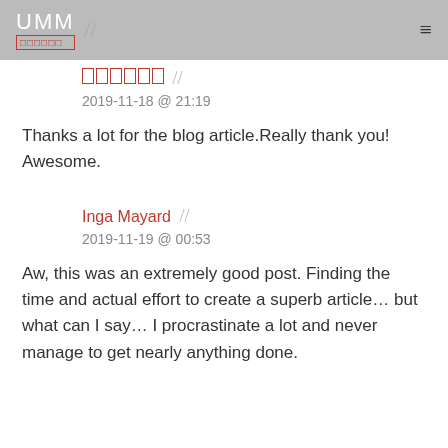UMM // [redacted name] 2019-11-18 @ 21:19
Thanks a lot for the blog article.Really thank you! Awesome.
Inga Mayard // 2019-11-19 @ 00:53
Aw, this was an extremely good post. Finding the time and actual effort to create a superb article… but what can I say… I procrastinate a lot and never manage to get nearly anything done.